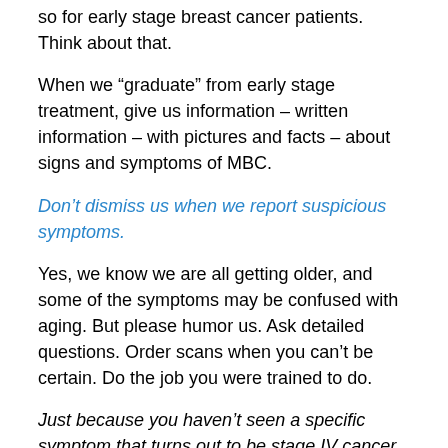so for early stage breast cancer patients.  Think about that.
When we “graduate” from early stage treatment, give us information – written information – with pictures and facts – about signs and symptoms of MBC.
Don’t dismiss us when we report suspicious symptoms.
Yes, we know we are all getting older, and some of the symptoms may be confused with aging. But please humor us. Ask detailed questions. Order scans when you can’t be certain.  Do the job you were trained to do.
Just because you haven’t seen a specific symptom that turns out to be stage IV cancer, doesn’t mean it can’t happen.